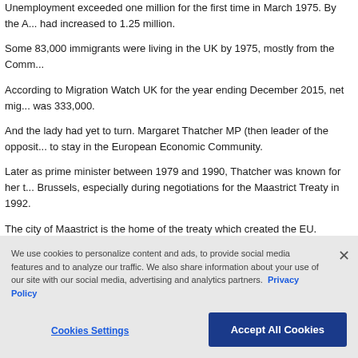Unemployment exceeded one million for the first time in March 1975. By the A... had increased to 1.25 million.
Some 83,000 immigrants were living in the UK by 1975, mostly from the Comm...
According to Migration Watch UK for the year ending December 2015, net mig... was 333,000.
And the lady had yet to turn. Margaret Thatcher MP (then leader of the opposit... to stay in the European Economic Community.
Later as prime minister between 1979 and 1990, Thatcher was known for her t... Brussels, especially during negotiations for the Maastrict Treaty in 1992.
The city of Maastrict is the home of the treaty which created the EU.
As summer arrived, businesses, leading universities and research establishme... beginning to assess the impact of Brexit.
For science and medicine, concerns were two fold.
We use cookies to personalize content and ads, to provide social media features and to analyze our traffic. We also share information about your use of our site with our social media, advertising and analytics partners. Privacy Policy
Cookies Settings
Accept All Cookies